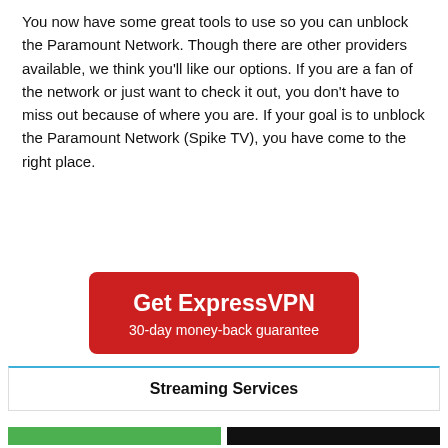You now have some great tools to use so you can unblock the Paramount Network. Though there are other providers available, we think you'll like our options. If you are a fan of the network or just want to check it out, you don't have to miss out because of where you are. If your goal is to unblock the Paramount Network (Spike TV), you have come to the right place.
[Figure (other): Red button with white text reading 'Get ExpressVPN' and subtitle '30-day money-back guarantee']
Streaming Services